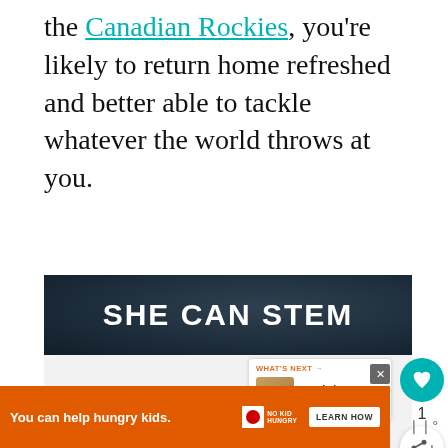the Canadian Rockies, you're likely to return home refreshed and better able to tackle whatever the world throws at you.
[Figure (screenshot): SHE CAN STEM advertisement banner with white bold text on dark navy background]
[Figure (infographic): Social media widget with heart (like) button in teal, count of 1, and share button below. 'What's Next' box showing Travel Shop: Luggage,... with thumbnail image.]
[Figure (infographic): Orange advertisement banner: 'You can help hungry kids.' with No Kid Hungry logo and LEARN HOW button. Close X button. Mute icon on right.]